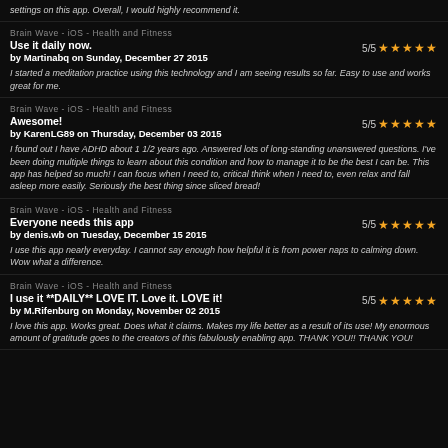settings on this app. Overall, I would highly recommend it.
Brain Wave - iOS - Health and Fitness
Use it daily now.
by Martinabq on Sunday, December 27 2015
5/5 ★★★★★
I started a meditation practice using this technology and I am seeing results so far. Easy to use and works great for me.
Brain Wave - iOS - Health and Fitness
Awesome!
by KarenLG89 on Thursday, December 03 2015
5/5 ★★★★★
I found out I have ADHD about 1 1/2 years ago. Answered lots of long-standing unanswered questions. I've been doing multiple things to learn about this condition and how to manage it to be the best I can be. This app has helped so much! I can focus when I need to, critical think when I need to, even relax and fall asleep more easily. Seriously the best thing since sliced bread!
Brain Wave - iOS - Health and Fitness
Everyone needs this app
by denis.wb on Tuesday, December 15 2015
5/5 ★★★★★
I use this app nearly everyday. I cannot say enough how helpful it is from power naps to calming down. Wow what a difference.
Brain Wave - iOS - Health and Fitness
I use it **DAILY** LOVE IT. Love it. LOVE it!
by M.Rifenburg on Monday, November 02 2015
5/5 ★★★★★
I love this app. Works great. Does what it claims. Makes my life better as a result of its use! My enormous amount of gratitude goes to the creators of this fabulously enabling app. THANK YOU!! THANK YOU!